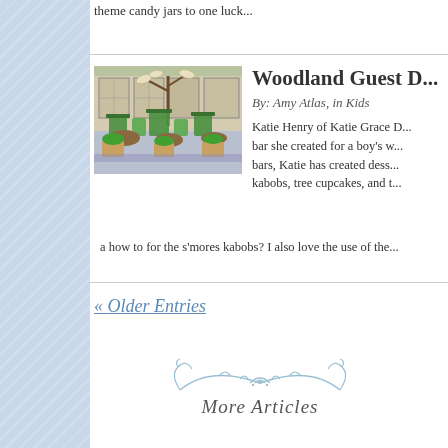theme candy jars to one luck...
[Figure (photo): Woodland themed dessert table with green candy jars, potted plants, and tree decorations outside a building with large windows]
Woodland Guest D...
By: Amy Atlas, in Kids
Katie Henry of Katie Grace D... bar she created for a boy's w... bars, Katie has created dess... kabobs, tree cupcakes, and t... a how to for the s'mores kabobs? I also love the use of the...
« Older Entries
[Figure (illustration): Decorative flourish/ornament in light blue]
More Articles